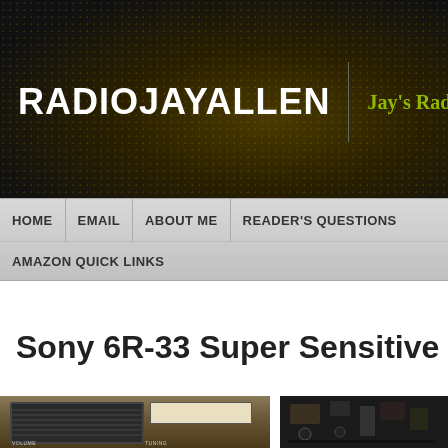RADIOJAYALLEN | Jay's Radio R
HOME | EMAIL | ABOUT ME | READER'S QUESTIONS | AMAZON QUICK LINKS
Sony 6R-33 Super Sensitive A
[Figure (photo): Photo of a vintage Sony 6R-33 portable transistor radio with wood-grain finish, showing grille, volume and tuning controls on the front panel]
[Figure (photo): Photo of radio interior components showing circuit boards and electronic parts in a dark enclosure]